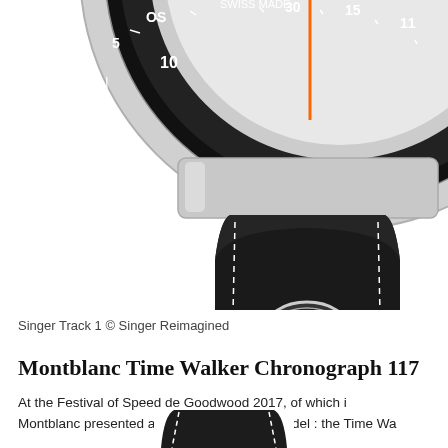[Figure (photo): Close-up photo of a watch (Singer Track 1) showing the lower portion of the watch case with a black leather strap featuring white stitching and an oval metal buckle/clasp, and the black bezel with chronograph scale markings visible at the top.]
Singer Track 1 © Singer Reimagined
Montblanc Time Walker Chronograph 117
At the Festival of Speed de Goodwood 2017, of which i Montblanc presented a chic new pink gold model : the Time Wa
[Figure (photo): Bottom portion of another watch image, partially visible at the bottom of the page.]